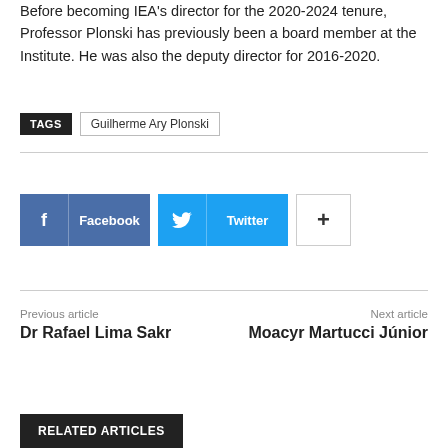Before becoming IEA's director for the 2020-2024 tenure, Professor Plonski has previously been a board member at the Institute. He was also the deputy director for 2016-2020.
TAGS  Guilherme Ary Plonski
[Figure (infographic): Social sharing buttons: Facebook (blue), Twitter (cyan), and a plus button (white/grey)]
Previous article
Dr Rafael Lima Sakr
Next article
Moacyr Martucci Júnior
RELATED ARTICLES